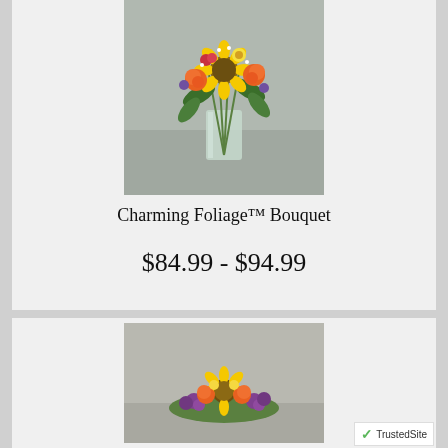[Figure (photo): Charming Foliage bouquet photo - sunflowers, orange roses, and mixed colorful flowers in a clear glass vase on a gray surface]
Charming Foliage™ Bouquet
$84.99 - $94.99
[Figure (photo): Second flower bouquet photo partially visible - colorful flowers including sunflowers and purple blooms in a low arrangement]